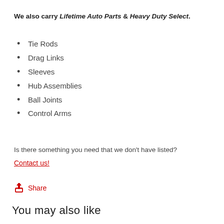We also carry Lifetime Auto Parts & Heavy Duty Select.
Tie Rods
Drag Links
Sleeves
Hub Assemblies
Ball Joints
Control Arms
Is there something you need that we don't have listed?
Contact us!
Share
You may also like